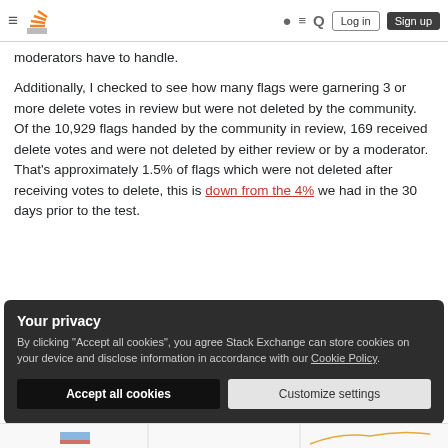Stack Exchange navigation bar with hamburger menu, logo, help, chat, search icons, Log in and Sign up buttons
moderators have to handle.
Additionally, I checked to see how many flags were garnering 3 or more delete votes in review but were not deleted by the community. Of the 10,929 flags handed by the community in review, 169 received delete votes and were not deleted by either review or by a moderator. That's approximately 1.5% of flags which were not deleted after receiving votes to delete, this is down from the 4% we had in the 30 days prior to the test.
Your privacy
By clicking "Accept all cookies", you agree Stack Exchange can store cookies on your device and disclose information in accordance with our Cookie Policy.
Accept all cookies  Customize settings